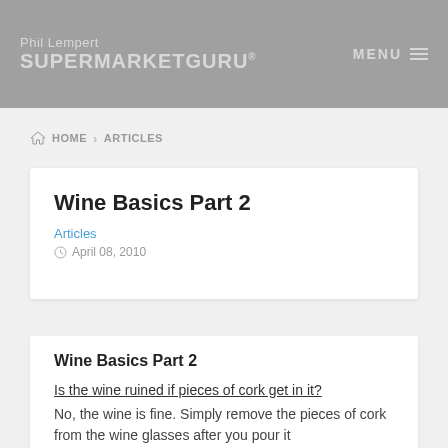Phil Lempert SUPERMARKETGURU®  MENU
HOME > ARTICLES
Wine Basics Part 2
Articles
April 08, 2010
Wine Basics Part 2
Is the wine ruined if pieces of cork get in it?
No, the wine is fine. Simply remove the pieces of cork from the wine glasses after you pour it